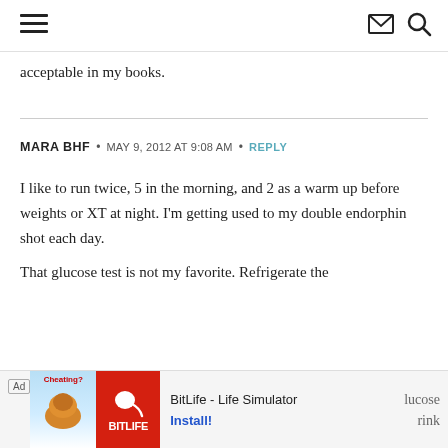Navigation and search header
acceptable in my books.
MARA BHF • MAY 9, 2012 AT 9:08 AM • REPLY
I like to run twice, 5 in the morning, and 2 as a warm up before weights or XT at night. I'm getting used to my double endorphin shot each day.
That glucose test is not my favorite. Refrigerate the
[Figure (screenshot): Ad banner for BitLife - Life Simulator app with muscle/cheating image on left and BitLife red logo, with Install button]